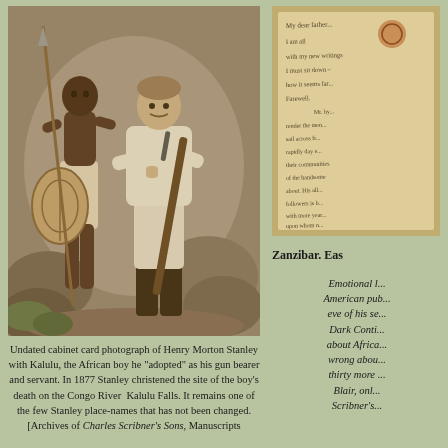[Figure (photo): Undated cabinet card sepia photograph of Henry Morton Stanley in white explorer outfit with Kalulu, an African boy holding a shield and spear, posed in a studio setting with rocks in the background.]
Undated cabinet card photograph of Henry Morton Stanley with Kalulu, the African boy he "adopted" as his gun bearer and servant. In 1877 Stanley christened the site of the boy's death on the Congo River  Kalulu Falls. It remains one of the few Stanley place-names that has not been changed. [Archives of Charles Scribner's Sons, Manuscripts
[Figure (photo): Handwritten letter or manuscript page with cursive script, partially visible, on aged yellowish paper.]
Zanzibar. Eas
Emotional l... American pub... eve of his se... Dark Conti... about Africa... wrong abou... thirty more ... Blair, onl... Scribner's...